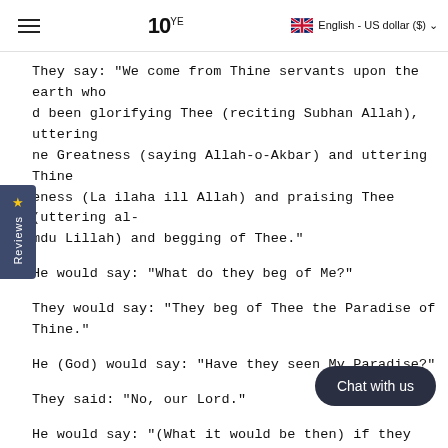10YE  English - US dollar ($)
They say: "We come from Thine servants upon the earth who had been glorifying Thee (reciting Subhan Allah), uttering Thine Greatness (saying Allah-o-Akbar) and uttering Thine Oneness (La ilaha ill Allah) and praising Thee (uttering al-Hamdu Lillah) and begging of Thee."
He would say: "What do they beg of Me?"
They would say: "They beg of Thee the Paradise of Thine."
He (God) would say: "Have they seen My Paradise?"
They said: "No, our Lord."
He would say: "(What it would be then) if they were to see Mine Paradise?"